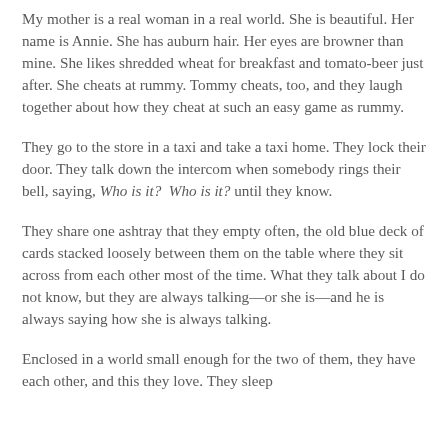My mother is a real woman in a real world. She is beautiful. Her name is Annie. She has auburn hair. Her eyes are browner than mine. She likes shredded wheat for breakfast and tomato-beer just after. She cheats at rummy. Tommy cheats, too, and they laugh together about how they cheat at such an easy game as rummy.
They go to the store in a taxi and take a taxi home. They lock their door. They talk down the intercom when somebody rings their bell, saying, Who is it?  Who is it? until they know.
They share one ashtray that they empty often, the old blue deck of cards stacked loosely between them on the table where they sit across from each other most of the time. What they talk about I do not know, but they are always talking—or she is—and he is always saying how she is always talking.
Enclosed in a world small enough for the two of them, they have each other, and this they love. They sleep...